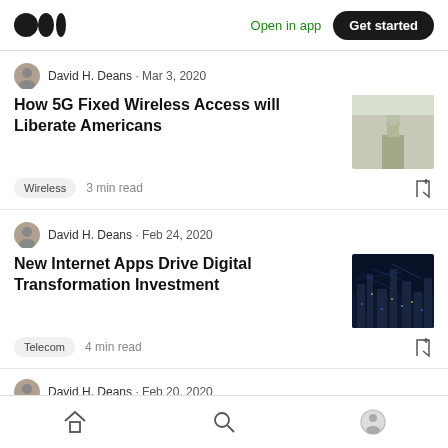Medium logo | Open in app | Get started
David H. Deans · Mar 3, 2020
How 5G Fixed Wireless Access will Liberate Americans
Wireless  3 min read
David H. Deans · Feb 24, 2020
New Internet Apps Drive Digital Transformation Investment
Telecom  4 min read
David H. Deans · Feb 20, 2020
Home | Search | Profile